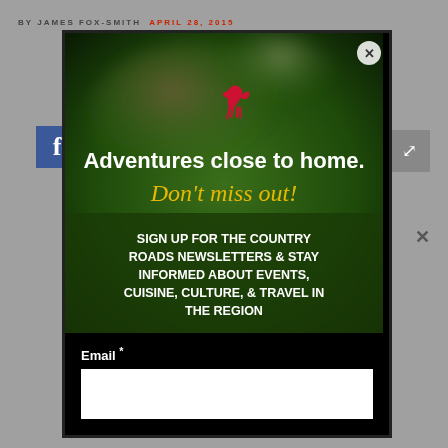BY JAMES FOX-SMITH   APRIL 28, 2015
[Figure (logo): Facebook 'f' logo in blue square]
[Figure (screenshot): Newsletter signup modal popup with blurred dark green/brown background photo, small red horse silhouette, white text 'Adventures close to home.' and gold italic 'Don't miss out!' headline, followed by white bold text 'SIGN UP FOR THE COUNTRY ROADS NEWSLETTERS & STAY INFORMED ABOUT EVENTS, CUISINE, CULTURE, & TRAVEL IN THE REGION', with a close X button in top right corner]
[Figure (other): Expand/fullscreen icon button in grey square]
Email *
✕